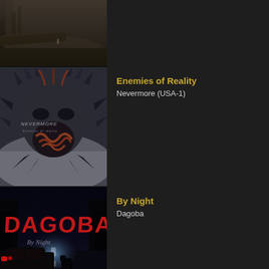[Figure (photo): Partial view of a dark atmospheric album cover showing a foggy forest scene with a small figure in the distance]
[Figure (photo): Nevermore 'Enemies of Reality' album cover featuring a dark demonic mask with tentacles and serpents]
Enemies of Reality
Nevermore (USA-1)
[Figure (photo): Dagoba 'By Night' album cover featuring red grunge lettering with a dark atmospheric night scene showing a car and a dog on a foggy road]
By Night
Dagoba